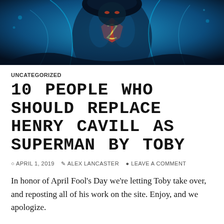[Figure (illustration): Superman comic book art showing a close-up of Superman in a blue costume with the S-shield on his chest, rendered in dark blue tones]
UNCATEGORIZED
10 PEOPLE WHO SHOULD REPLACE HENRY CAVILL AS SUPERMAN BY TOBY
© APRIL 1, 2019  ✎ ALEX LANCASTER  ✉ LEAVE A COMMENT
In honor of April Fool's Day we're letting Toby take over, and reposting all of his work on the site. Enjoy, and we apologize.
Continue reading →